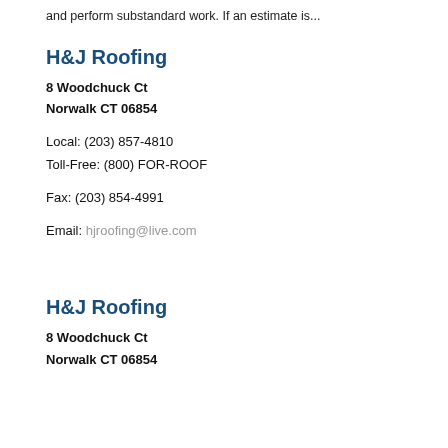and perform substandard work. If an estimate is...
H&J Roofing
8 Woodchuck Ct
Norwalk CT 06854
Local: (203) 857-4810
Toll-Free: (800) FOR-ROOF
Fax: (203) 854-4991
Email: hjroofing@live.com
H&J Roofing
8 Woodchuck Ct
Norwalk CT 06854